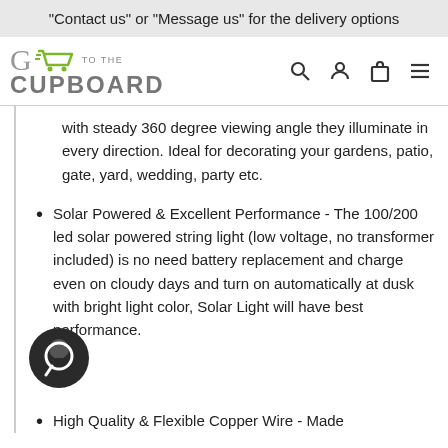"Contact us" or "Message us" for the delivery options
[Figure (logo): Go To The Cupboard logo with shopping cart icon, search, user, cart and menu icons in header]
with steady 360 degree viewing angle they illuminate in every direction. Ideal for decorating your gardens, patio, gate, yard, wedding, party etc.
Solar Powered & Excellent Performance - The 100/200 led solar powered string light (low voltage, no transformer included) is no need battery replacement and charge even on cloudy days and turn on automatically at dusk with bright light color, Solar Light will have best performance.
High Quality & Flexible Copper Wire - Made